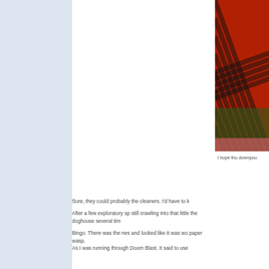[Figure (photo): Partial view of a person wearing a red and black plaid flannel shirt, cropped at the right edge of the page]
I hope tho downpou
Sure, they could probably the cleaners. I'd have to k
After a few exploratory sp still crawling into that little the doghouse several tim
Bingo. There was the nes and looked like it was wo paper wasp.
As I was running through Doom Blast. It said to use